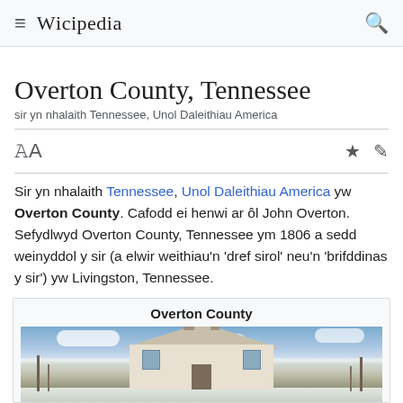≡ WICIPEDIA 🔍
Overton County, Tennessee
sir yn nhalaith Tennessee, Unol Daleithiau America
Sir yn nhalaith Tennessee, Unol Daleithiau America yw Overton County. Cafodd ei henwi ar ôl John Overton. Sefydlwyd Overton County, Tennessee ym 1806 a sedd weinyddol y sir (a elwir weithiau'n 'dref sirol' neu'n 'brifddinas y sir') yw Livingston, Tennessee.
[Figure (illustration): Infobox with title Overton County and a photo of a historic building with snow on the roof, bare trees, and a blue sky with clouds.]